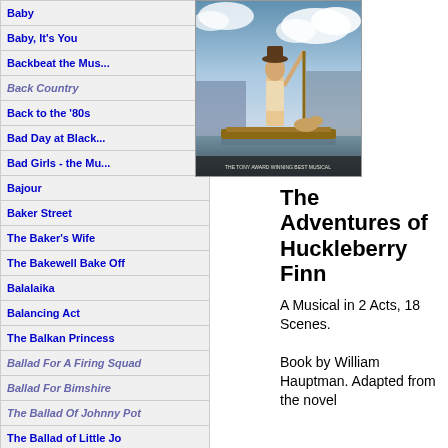Baby
Baby, It's You
Backbeat the Mus...
Back Country
Back to the '80s
Bad Day at Black...
Bad Girls - the Mu...
Bajour
Baker Street
The Baker's Wife
The Bakewell Bake Off
Balalaika
Balancing Act
The Balkan Princess
Ballad For A Firing Squad
Ballad For Bimshire
The Ballad Of Johnny Pot
The Ballad of Little Jo
Ballad of Salomon Pavey
Ballroom
The Bamboula
Band Geeks
Banjo Boy
Banjo Eyes
The Banker's Daughter
The Bar That Never Closes
Bar Mitzvah Boy
[Figure (illustration): Theatrical poster for The Adventures of Huckleberry Finn musical, showing a figure on a raft with dramatic sky background]
The Adventures of Huckleberry Finn
A Musical in 2 Acts, 18 Scenes. Book by William Hauptman. Adapted from the novel